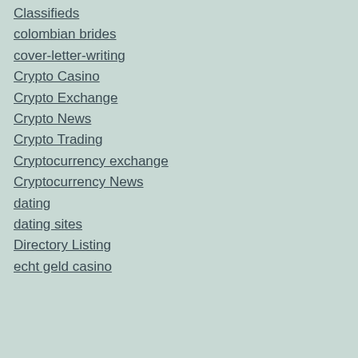Classifieds
colombian brides
cover-letter-writing
Crypto Casino
Crypto Exchange
Crypto News
Crypto Trading
Cryptocurrency exchange
Cryptocurrency News
dating
dating sites
Directory Listing
echt geld casino